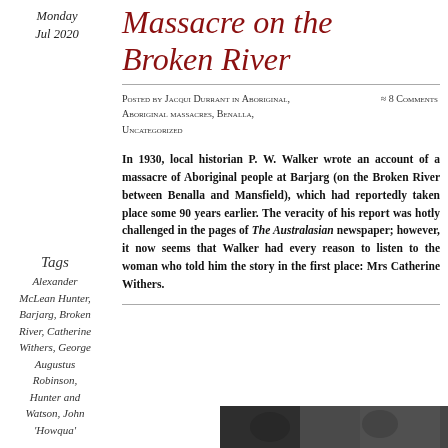Monday
Jul 2020
Massacre on the Broken River
Posted by Jacqui Durrant in Aboriginal, Aboriginal massacres, Benalla, Uncategorized
≈ 8 Comments
In 1930, local historian P. W. Walker wrote an account of a massacre of Aboriginal people at Barjarg (on the Broken River between Benalla and Mansfield), which had reportedly taken place some 90 years earlier. The veracity of his report was hotly challenged in the pages of The Australasian newspaper; however, it now seems that Walker had every reason to listen to the woman who told him the story in the first place: Mrs Catherine Withers.
Tags
Alexander McLean Hunter, Barjarg, Broken River, Catherine Withers, George Augustus Robinson, Hunter and Watson, John 'Howqua'
[Figure (photo): Dark photograph at the bottom of the page, partially visible]